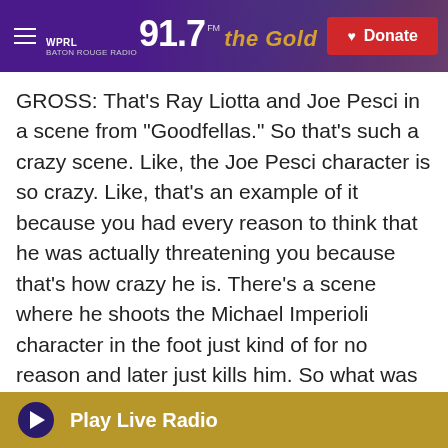[Figure (screenshot): WPRL 91.7 The Gold public radio website header with purple banner, logo, and red Donate button]
GROSS: That's Ray Liotta and Joe Pesci in a scene from "Goodfellas." So that's such a crazy scene. Like, the Joe Pesci character is so crazy. Like, that's an example of it because you had every reason to think that he was actually threatening you because that's how crazy he is. There's a scene where he shoots the Michael Imperioli character in the foot just kind of for no reason and later just kills him. So what was behind that scene? Like, what's the difference between how that scene looked in the original script and how it looked onscreen?
LIOTTA: That was totally improv during - Joe was
Play Live Radio